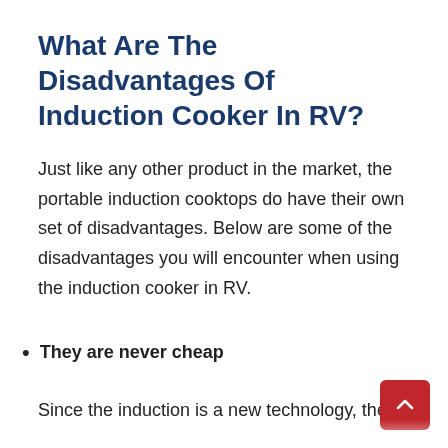What Are The Disadvantages Of Induction Cooker In RV?
Just like any other product in the market, the portable induction cooktops do have their own set of disadvantages. Below are some of the disadvantages you will encounter when using the induction cooker in RV.
They are never cheap
Since the induction is a new technology, the cooktops are not that cheap, and they will always